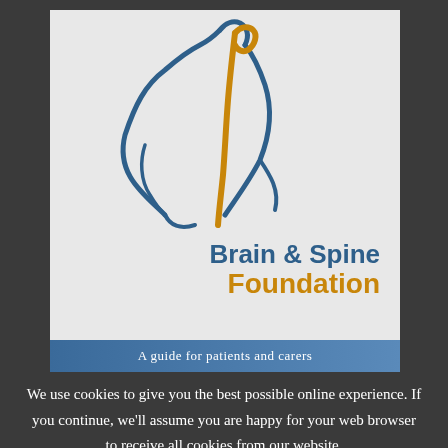[Figure (logo): Brain & Spine Foundation logo: stylized blue line drawing of a hunched human figure with an amber/gold spine highlight, with organization name text 'Brain & Spine Foundation']
A guide for patients and carers
We use cookies to give you the best possible online experience. If you continue, we'll assume you are happy for your web browser to receive all cookies from our website.